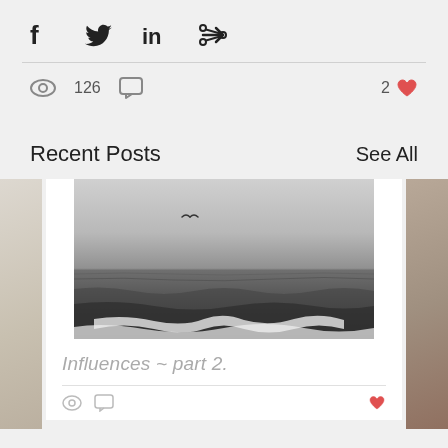[Figure (screenshot): Social media share bar with Facebook, Twitter, LinkedIn, and link icons]
126  2
Recent Posts   See All
[Figure (photo): Black and white photo of ocean waves with a bird flying in the sky]
Influences ~ part 2.